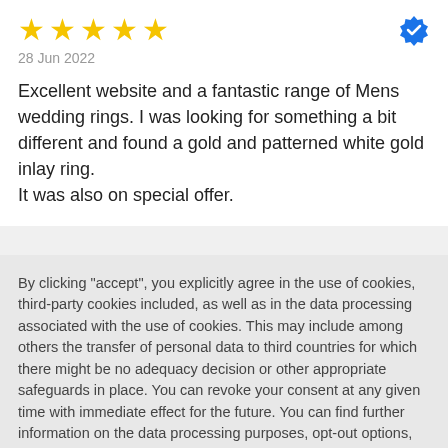[Figure (other): Five gold star rating icons with a blue verified badge checkmark on the right]
28 Jun 2022
Excellent website and a fantastic range of Mens wedding rings. I was looking for something a bit different and found a gold and patterned white gold inlay ring.
It was also on special offer.
By clicking "accept", you explicitly agree in the use of cookies, third-party cookies included, as well as in the data processing associated with the use of cookies. This may include among others the transfer of personal data to third countries for which there might be no adequacy decision or other appropriate safeguards in place. You can revoke your consent at any given time with immediate effect for the future. You can find further information on the data processing purposes, opt-out options, your rights, and the risks of data transfers to third countries here.
ACCEPT